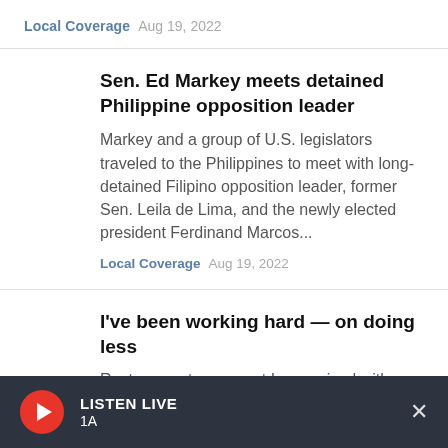Local Coverage  Aug 19, 2022
Sen. Ed Markey meets detained Philippine opposition leader
Markey and a group of U.S. legislators traveled to the Philippines to meet with long-detained Filipino opposition leader, former Sen. Leila de Lima, and the newly elected president Ferdinand Marcos...
Local Coverage  Aug 19, 2022
I've been working hard — on doing less
Rest was not a concept I was raised with, writes Neema Avashia. In the past
LISTEN LIVE  1A